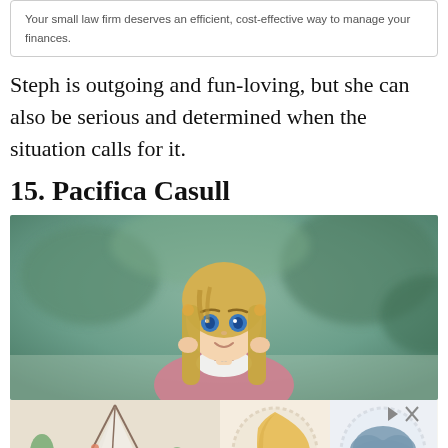Your small law firm deserves an efficient, cost-effective way to manage your finances.
Steph is outgoing and fun-loving, but she can also be serious and determined when the situation calls for it.
15. Pacifica Casull
[Figure (photo): Anime character with long blonde hair wearing a pink outfit, standing outdoors with a blurred green background]
[Figure (photo): Advertisement banner showing three product images: a teepee tent, a moon-shaped pillow, and a cloud-shaped pillow, with Tiny Land logo]